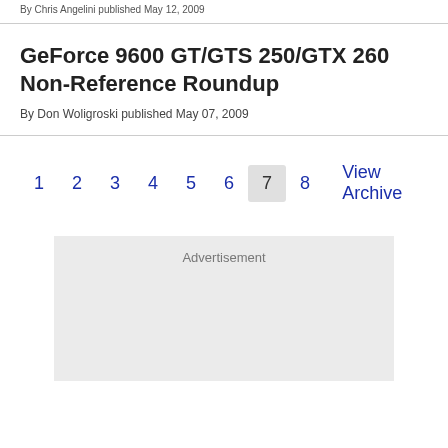By Chris Angelini published May 12, 2009
GeForce 9600 GT/GTS 250/GTX 260 Non-Reference Roundup
By Don Woligroski published May 07, 2009
1 2 3 4 5 6 7 8 View Archive
[Figure (other): Advertisement placeholder box]